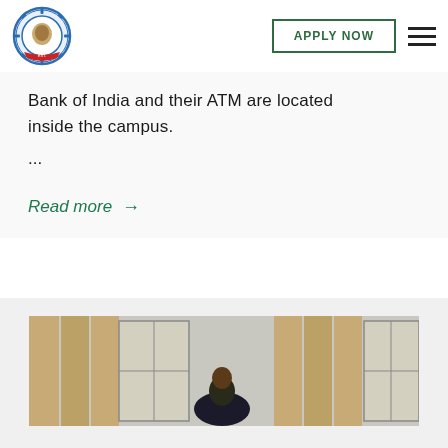[Figure (logo): Institutional logo/crest with gear border and red ribbon banner]
APPLY NOW
Bank of India and their ATM are located inside the campus.
...
Read more →
[Figure (photo): Indoor room scene with curtained windows and a person seated]